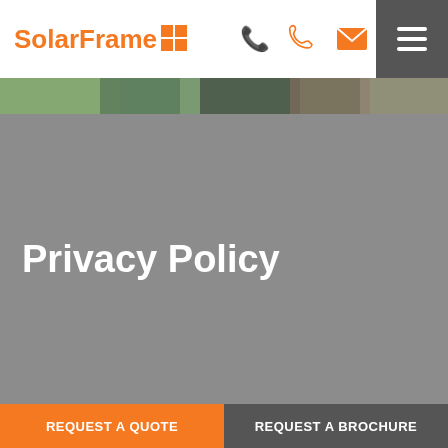SolarFrame
[Figure (screenshot): Blurred outdoor photo strip behind hero area]
Privacy Policy
Who we are
REQUEST A QUOTE
REQUEST A BROCHURE